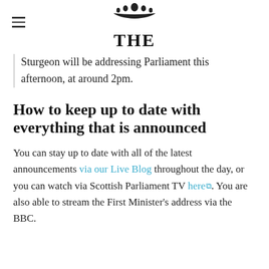THE SCOTSMAN
Sturgeon will be addressing Parliament this afternoon, at around 2pm.
How to keep up to date with everything that is announced
You can stay up to date with all of the latest announcements via our Live Blog throughout the day, or you can watch via Scottish Parliament TV here. You are also able to stream the First Minister's address via the BBC.